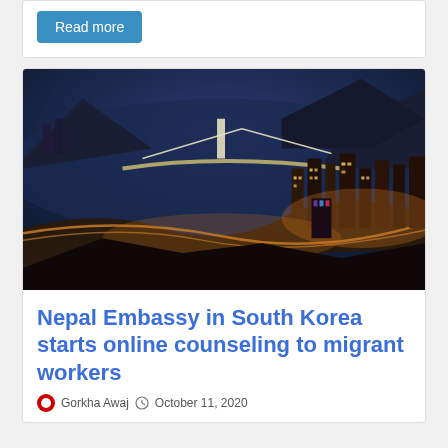Read more
[Figure (photo): Aerial night view of a coastal city (Busan, South Korea) showing illuminated bridges, highways, skyscrapers, and waterfront with mountains in the background.]
Nepal Embassy in South Korea starts online counseling to migrant workers
Gorkha Awaj  October 11, 2020